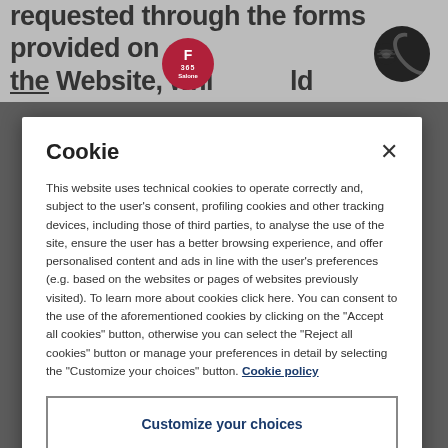requested through the forms provided on the Website, whi_ _ld otherwise _
Cookie
This website uses technical cookies to operate correctly and, subject to the user's consent, profiling cookies and other tracking devices, including those of third parties, to analyse the use of the site, ensure the user has a better browsing experience, and offer personalised content and ads in line with the user's preferences (e.g. based on the websites or pages of websites previously visited). To learn more about cookies click here. You can consent to the use of the aforementioned cookies by clicking on the "Accept all cookies" button, otherwise you can select the "Reject all cookies" button or manage your preferences in detail by selecting the "Customize your choices" button. Cookie policy
Customize your choices
Reject All